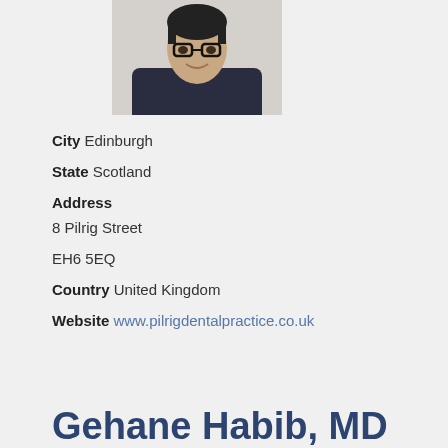[Figure (photo): Headshot photo of a young man wearing glasses and a dark navy top, smiling, against a light background.]
City  Edinburgh
State  Scotland
Address
8 Pilrig Street

EH6 5EQ
Country  United Kingdom
Website  www.pilrigdentalpractice.co.uk
Gehane Habib, MD